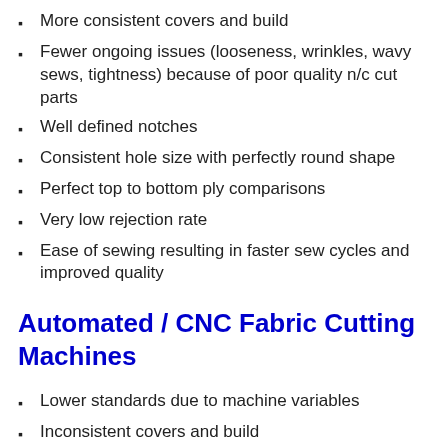More consistent covers and build
Fewer ongoing issues (looseness, wrinkles, wavy sews, tightness) because of poor quality n/c cut parts
Well defined notches
Consistent hole size with perfectly round shape
Perfect top to bottom ply comparisons
Very low rejection rate
Ease of sewing resulting in faster sew cycles and improved quality
Automated / CNC Fabric Cutting Machines
Lower standards due to machine variables
Inconsistent covers and build